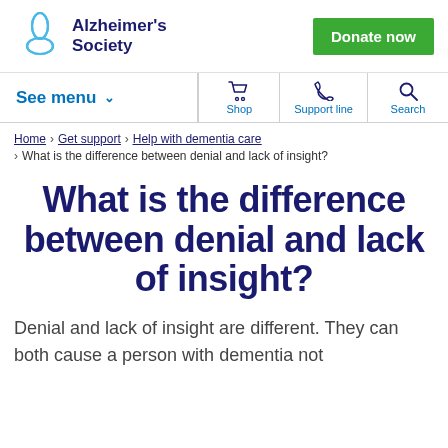Alzheimer's Society — Donate now
See menu | Shop | Support line | Search
Home > Get support > Help with dementia care > What is the difference between denial and lack of insight?
What is the difference between denial and lack of insight?
Denial and lack of insight are different. They can both cause a person with dementia not